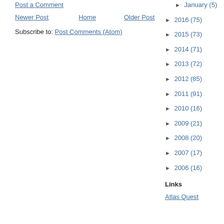Post a Comment
Newer Post | Home | Older Post
Subscribe to: Post Comments (Atom)
► January (5)
► 2016 (75)
► 2015 (73)
► 2014 (71)
► 2013 (72)
► 2012 (85)
► 2011 (91)
► 2010 (16)
► 2009 (21)
► 2008 (20)
► 2007 (17)
► 2006 (16)
Links
Atlas Quest